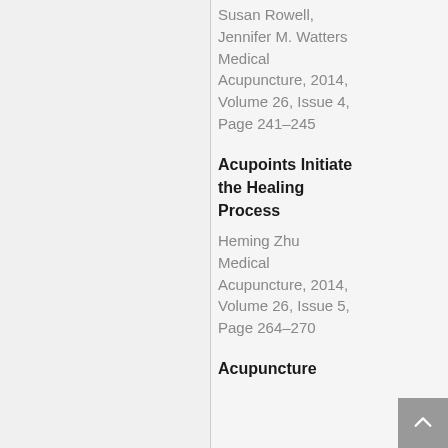Susan Rowell, Jennifer M. Watters Medical Acupuncture, 2014, Volume 26, Issue 4, Page 241–245
Acupoints Initiate the Healing Process
Heming Zhu Medical Acupuncture, 2014, Volume 26, Issue 5, Page 264–270
Acupuncture Needling Style...